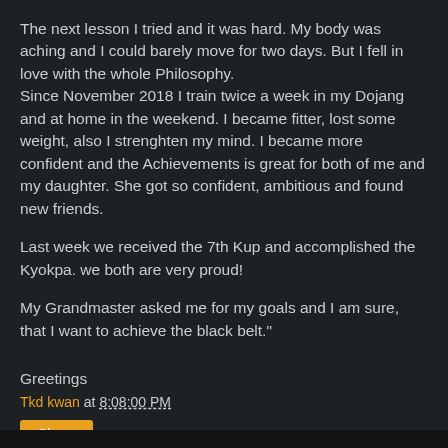The next lesson I tried and it was hard. My body was aching and I could barely move for two days. But I fell in love with the whole Philosophy.
Since November 2018 I train twice a week in my Dojang and at home in the weekend. I became fitter, lost some weight, also I strenghten my mind. I became more confident and the Achievements is great for both of me and my daughter. She got so confident, ambitious and found new friends.
Last week we received the 7th Kup and accomplished the Kyokpa. we both are very proud!
My Grandmaster asked me for my goals and I am sure, that I want to achieve the black belt."
Greetings
Tkd kwan at 8:08:00 PM
Share